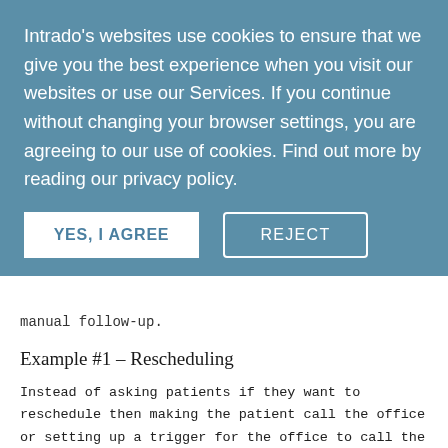Intrado's websites use cookies to ensure that we give you the best experience when you visit our websites or use our Services. If you continue without changing your browser settings, you are agreeing to our use of cookies. Find out more by reading our privacy policy.
YES, I AGREE
REJECT
manual follow-up.
Example #1 – Rescheduling
Instead of asking patients if they want to reschedule then making the patient call the office or setting up a trigger for the office to call the patient, an embedded solution allows the patient to reschedule directly within the text message - without any interaction from staff. The patient's response is written directly